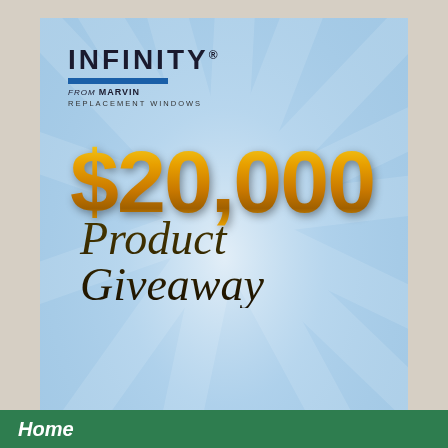[Figure (illustration): Infinity from Marvin Replacement Windows $20,000 Product Giveaway advertisement card with sky-blue radial background, gold 3D $20,000 text, cursive 'Product Giveaway' text, and a slate gray banner reading 'INFINITY SWEEPSTAKES']
Home